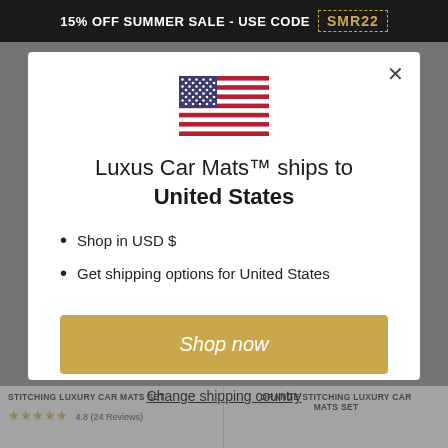15% OFF SUMMER SALE - USE CODE SMR22
[Figure (illustration): US flag SVG illustration inside popup modal]
Luxus Car Mats™ ships to United States
Shop in USD $
Get shipping options for United States
Shop now
Change shipping country
STITCHING LUXURY CAR MATS SET
4.8 (24 Reviews)
ORANGE STITCHING LUXURY CAR MATS SET